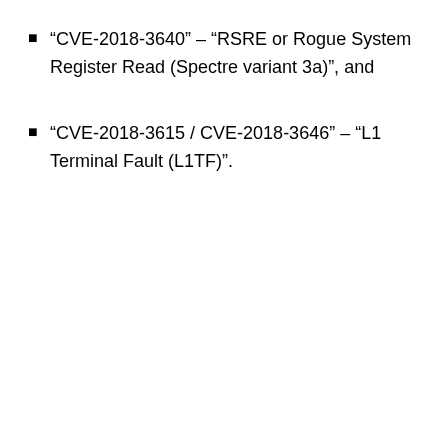“CVE-2018-3640” – “RSRE or Rogue System Register Read (Spectre variant 3a)”, and
“CVE-2018-3615 / CVE-2018-3646” – “L1 Terminal Fault (L1TF)”.